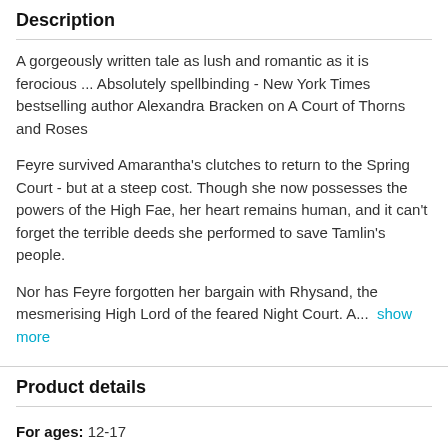Description
A gorgeously written tale as lush and romantic as it is ferocious ... Absolutely spellbinding - New York Times bestselling author Alexandra Bracken on A Court of Thorns and Roses
Feyre survived Amarantha's clutches to return to the Spring Court - but at a steep cost. Though she now possesses the powers of the High Fae, her heart remains human, and it can't forget the terrible deeds she performed to save Tamlin's people.
Nor has Feyre forgotten her bargain with Rhysand, the mesmerising High Lord of the feared Night Court. A...  show more
Product details
For ages: 12-17
Format: Paperback | 640 pages
Dimensions: 129 x 198 x 43mm | 434g
Publication date: 05 May 2016